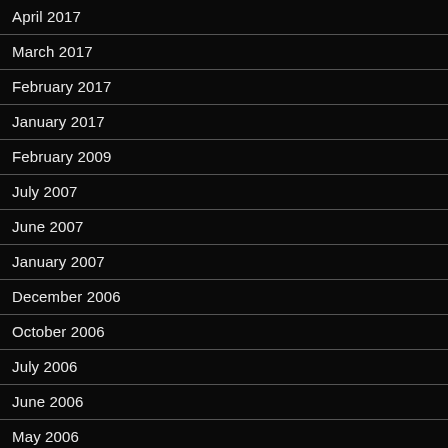April 2017
March 2017
February 2017
January 2017
February 2009
July 2007
June 2007
January 2007
December 2006
October 2006
July 2006
June 2006
May 2006